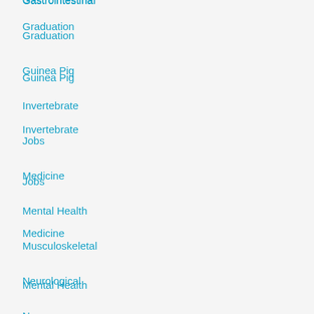Gastrointestinal (truncated/partial)
Graduation
Guinea Pig
Invertebrate
Jobs
Medicine
Mental Health
Musculoskeletal
Neurological
News
Nurse
nutrition
Ophthalmology
Parasitology